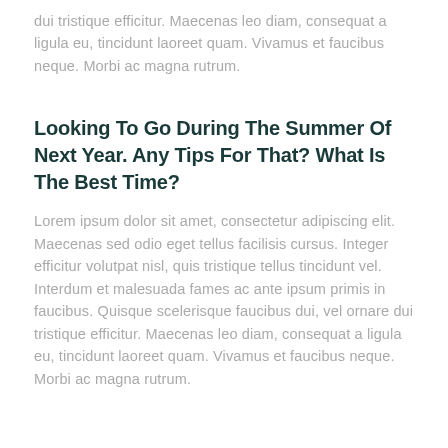dui tristique efficitur. Maecenas leo diam, consequat a ligula eu, tincidunt laoreet quam. Vivamus et faucibus neque. Morbi ac magna rutrum.
Looking To Go During The Summer Of Next Year. Any Tips For That? What Is The Best Time?
Lorem ipsum dolor sit amet, consectetur adipiscing elit. Maecenas sed odio eget tellus facilisis cursus. Integer efficitur volutpat nisl, quis tristique tellus tincidunt vel. Interdum et malesuada fames ac ante ipsum primis in faucibus. Quisque scelerisque faucibus dui, vel ornare dui tristique efficitur. Maecenas leo diam, consequat a ligula eu, tincidunt laoreet quam. Vivamus et faucibus neque. Morbi ac magna rutrum.